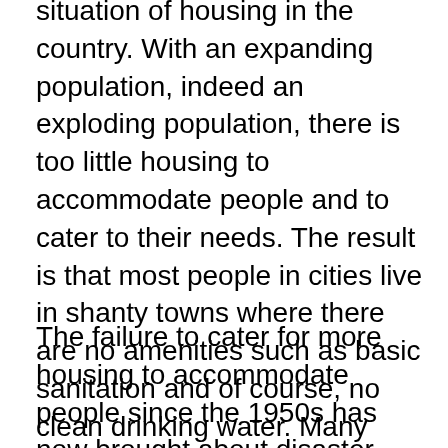situation of housing in the country. With an expanding population, indeed an exploding population, there is too little housing to accommodate people and to cater to their needs. The result is that most people in cities live in shanty towns where there are no amenities such as basic sanitation and of course, no clean drinking water. Many survive in structures made of tin or cardboard and nothing more than that, fighting off the elements despite these conditions.
The failure to cater for more housing to accommodate people since the 1950s has now brought about disaster and is likely to bring about even more in the future when the population grows still further. And of course for the love of and the one the